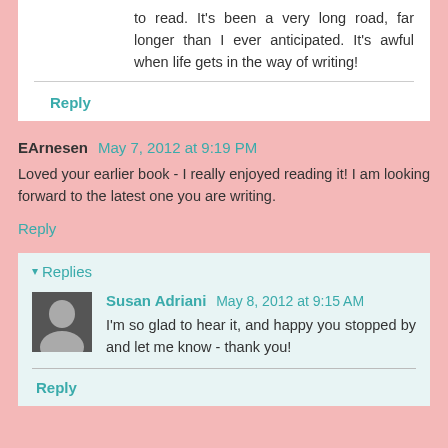to read. It's been a very long road, far longer than I ever anticipated. It's awful when life gets in the way of writing!
Reply
EArnesen  May 7, 2012 at 9:19 PM
Loved your earlier book - I really enjoyed reading it! I am looking forward to the latest one you are writing.
Reply
▾ Replies
Susan Adriani  May 8, 2012 at 9:15 AM
I'm so glad to hear it, and happy you stopped by and let me know - thank you!
Reply